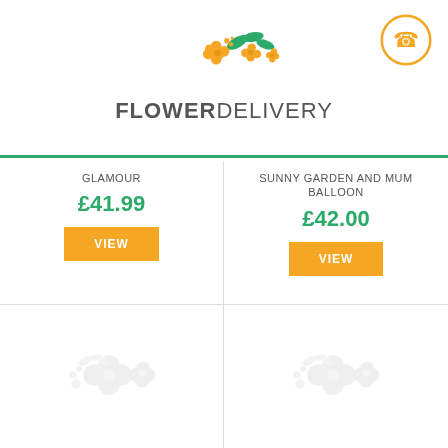[Figure (logo): Flower Delivery logo with orange and green flower icons and text FLOWERDELIVERY]
GLAMOUR
£41.99
VIEW
SUNNY GARDEN AND MUM BALLOON
£42.00
VIEW
[Figure (photo): Loading placeholder with grey flower delivery logo]
[Figure (photo): Loading placeholder with grey flower delivery logo]